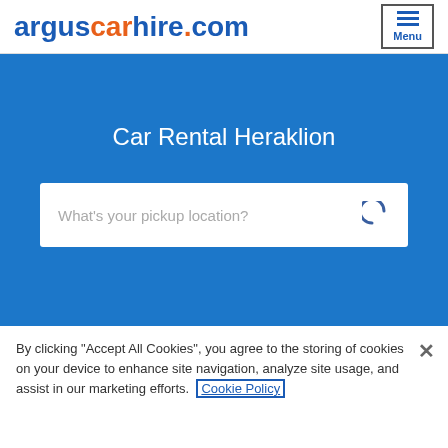arguscarhire.com
Car Rental Heraklion
What's your pickup location?
By clicking “Accept All Cookies”, you agree to the storing of cookies on your device to enhance site navigation, analyze site usage, and assist in our marketing efforts. Cookie Policy